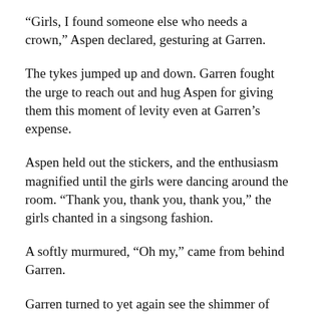“Girls, I found someone else who needs a crown,” Aspen declared, gesturing at Garren.
The tykes jumped up and down. Garren fought the urge to reach out and hug Aspen for giving them this moment of levity even at Garren’s expense.
Aspen held out the stickers, and the enthusiasm magnified until the girls were dancing around the room. “Thank you, thank you, thank you,” the girls chanted in a singsong fashion.
A softly murmured, “Oh my,” came from behind Garren.
Garren turned to yet again see the shimmer of tears in Mrs. Burgett’s eyes, but a smile accompanied the moisture.
Aspen grinned back at her. “I hope you don’t mind.